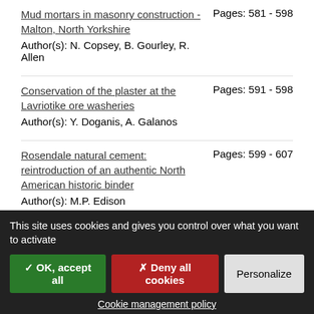Mud mortars in masonry construction - Malton, North Yorkshire
Author(s): N. Copsey, B. Gourley, R. Allen
Pages: 581 - 598
Conservation of the plaster at the Lavriotike ore washeries
Author(s): Y. Doganis, A. Galanos
Pages: 591 - 598
Rosendale natural cement: reintroduction of an authentic North American historic binder
Author(s): M.P. Edison
Pages: 599 - 607
This site uses cookies and gives you control over what you want to activate